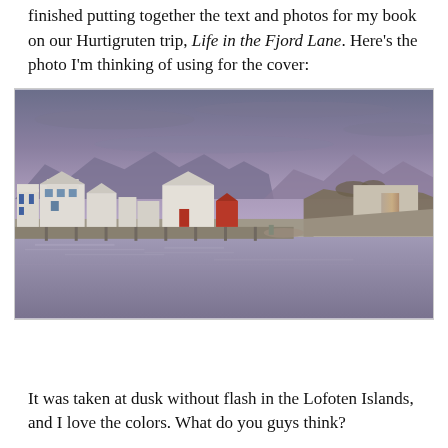finished putting together the text and photos for my book on our Hurtigruten trip, Life in the Fjord Lane. Here's the photo I'm thinking of using for the cover:
[Figure (photo): A dusk photograph of a small Norwegian coastal village in the Lofoten Islands. White buildings and a harbor dock are in the foreground, with rocky coastline and dramatic mountain peaks under a purple-grey twilight sky reflected in calm water.]
It was taken at dusk without flash in the Lofoten Islands, and I love the colors. What do you guys think?